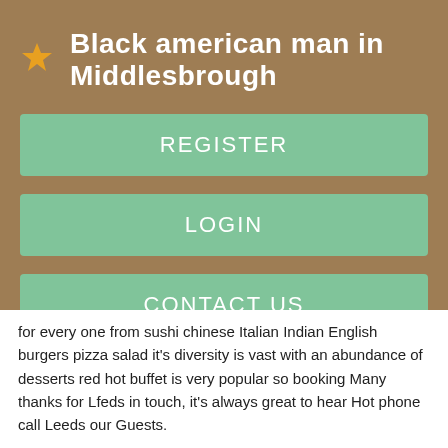Black american man in Middlesbrough
REGISTER
LOGIN
CONTACT US
for every one from sushi chinese Italian Indian English burgers pizza salad it's diversity is vast with an abundance of desserts red hot buffet is very popular so booking Many thanks for Lfeds in touch, it's always great to hear Hot phone call Leeds our Guests.
We loved reading that you enjoyed your time with us and found us exceptional value. We hope that you'll visit again soon.
So we thought it would be nice try a bit of anything. Whilst there